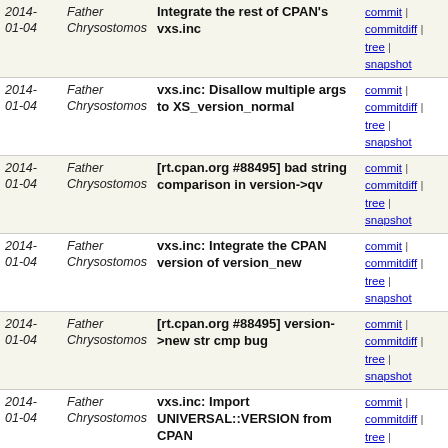| Date | Author | Message | Links |
| --- | --- | --- | --- |
| 2014-01-04 | Father Chrysostomos | Integrate the rest of CPAN's vxs.inc | commit | commitdiff | tree | snapshot |
| 2014-01-04 | Father Chrysostomos | vxs.inc: Disallow multiple args to XS_version_normal | commit | commitdiff | tree | snapshot |
| 2014-01-04 | Father Chrysostomos | [rt.cpan.org #88495] bad string comparison in version->qv | commit | commitdiff | tree | snapshot |
| 2014-01-04 | Father Chrysostomos | vxs.inc: Integrate the CPAN version of version_new | commit | commitdiff | tree | snapshot |
| 2014-01-04 | Father Chrysostomos | [rt.cpan.org #88495] version->new str cmp bug | commit | commitdiff | tree | snapshot |
| 2014-01-04 | Father Chrysostomos | vxs.inc: Import UNIVERSAL::VERSION from CPAN | commit | commitdiff | tree | snapshot |
| 2014-01-04 | Father Chrysostomos | universal.c: include vutil.h | commit | commitdiff | tree | snapshot |
| 2014-01-04 | Father Chrysostomos | vxs.inc: arg list checking for UNIVERSAL::VERSION | commit | commitdiff | tree | snapshot |
| 2014-01-04 | Father Chrysostomos | vxs.inc: Add dVAR define for CPAN use | commit | commitdiff | tree | snapshot |
| 2014-01-04 | Father Chrysostomos | vxs.inc: Don't hard-code class name | commit | commitdiff | tree | snapshot |